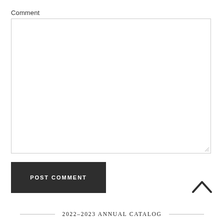Comment
[Figure (other): Empty comment textarea input box with resize handle in the bottom-right corner]
POST COMMENT
[Figure (other): Up arrow chevron icon for scroll to top]
2022–2023 ANNUAL CATALOG